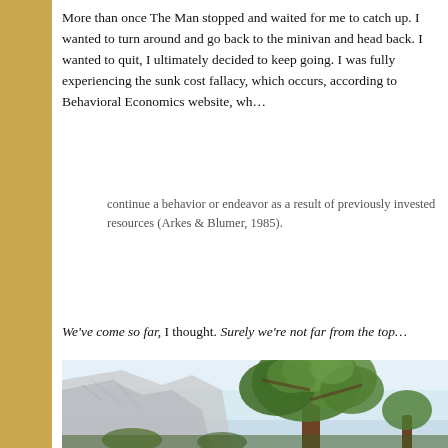More than once The Man stopped and waited for me to catch up. I wanted to turn around and go back to the minivan and head back. I wanted to quit, I ultimately decided to keep going. I was fully experiencing the sunk cost fallacy, which occurs, according to Behavioral Economics website, wh...
continue a behavior or endeavor as a result of previously invested resources (Arkes & Blumer, 1985).
We've come so far, I thought. Surely we're not far from the top...
[Figure (photo): Outdoor photo looking up at a large tree with green foliage against a light blue sky, with a rocky mountain or cliff face in the background.]